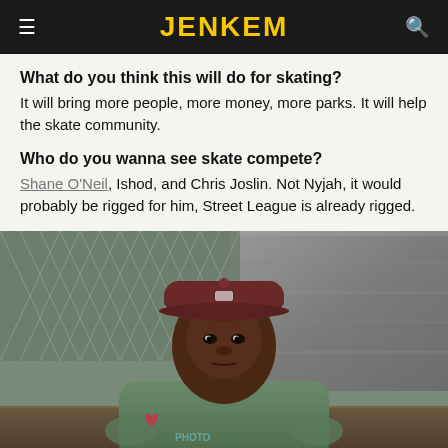JENKEM
What do you think this will do for skating?
It will bring more people, more money, more parks. It will help the skate community.
Who do you wanna see skate compete?
Shane O'Neil, Ishod, and Chris Joslin. Not Nyjah, it would probably be rigged for him, Street League is already rigged.
[Figure (photo): Young Black man wearing a dark red/maroon snapback cap and olive green t-shirt, looking at the camera. Behind him is a chain-link fence and a stone/concrete wall. He is outdoors at what appears to be a skate spot.]